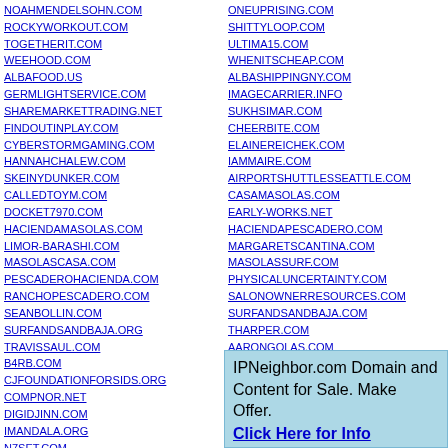NOAHMENDELSOHN.COM
ROCKYWORKOUT.COM
TOGETHERIT.COM
WEEHOOD.COM
ALBAFOOD.US
GERMLIGHTSERVICE.COM
SHAREMARKETTRADING.NET
FINDOUTINPLAY.COM
CYBERSTORMGAMING.COM
HANNAHCHALEW.COM
SKEINYDUNKER.COM
CALLEDTOYM.COM
DOCKET7970.COM
HACIENDAMASOLAS.COM
LIMOR-BARASHI.COM
MASOLASCASA.COM
PESCADEROHACIENDA.COM
RANCHOPESCADERO.COM
SEANBOLLIN.COM
SURFANDSANDBAJA.ORG
TRAVISSAUL.COM
B4RB.COM
CJFOUNDATIONFORSIDS.ORG
COMPNOR.NET
DIGIDJINN.COM
IMANDALA.ORG
N7SET.COM
PLUGOARTS.COM
ONEUPRISING.COM
SHITTYLOOP.COM
ULTIMA15.COM
WHENITSCHEAP.COM
ALBASHIPPINGNY.COM
IMAGECARRIER.INFO
SUKHSIMAR.COM
CHEERBITE.COM
ELAINEREICHEK.COM
IAMMAIRE.COM
AIRPORTSHUTTLESSEATTLE.COM
CASAMASOLAS.COM
EARLY-WORKS.NET
HACIENDAPESCADERO.COM
MARGARETSCANTINA.COM
MASOLASSURF.COM
PHYSICALUNCERTAINTY.COM
SALONOWNERRESOURCES.COM
SURFANDSANDBAJA.COM
THARPER.COM
AARONGOLAS.COM
BARBALICIOUS.COM
CJSIDS.COM
IPNeighbor.com Domain and Content for Sale. Make Offer. Click Here for Info